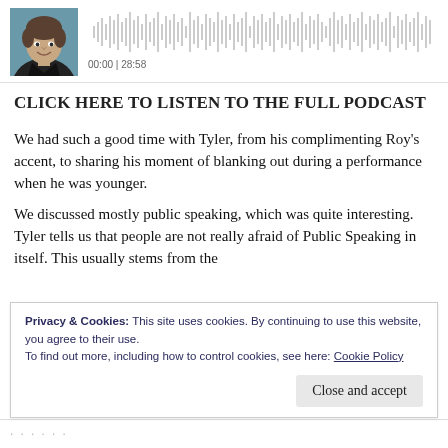[Figure (screenshot): Audio player with a thumbnail photo of a man and a waveform visualization showing 00:00 | 28:58]
CLICK HERE TO LISTEN TO THE FULL PODCAST
We had such a good time with Tyler, from his complimenting Roy's accent, to sharing his moment of blanking out during a performance when he was younger.
We discussed mostly public speaking, which was quite interesting.  Tyler tells us that people are not really afraid of Public Speaking in itself.  This usually stems from the
Privacy & Cookies: This site uses cookies. By continuing to use this website, you agree to their use.
To find out more, including how to control cookies, see here: Cookie Policy
Close and accept